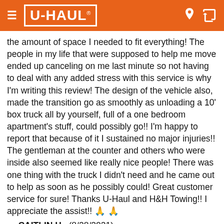U-HAUL
the amount of space I needed to fit everything! The people in my life that were supposed to help me move ended up canceling on me last minute so not having to deal with any added stress with this service is why I'm writing this review! The design of the vehicle also, made the transition go as smoothly as unloading a 10' box truck all by yourself, full of a one bedroom apartment's stuff, could possibly go!! I'm happy to report that because of it I sustained no major injuries!! The gentleman at the counter and others who were inside also seemed like really nice people! There was one thing with the truck I didn't need and he came out to help as soon as he possibly could! Great customer service for sure! Thanks U-Haul and H&H Towing!! I appreciate the assist!! 🙏 🙏
— CAITLIN H. (8/28/2021)
r 1.0
your paying customers to give what they paid for. And not charging them for your mistakes
Volver arriba